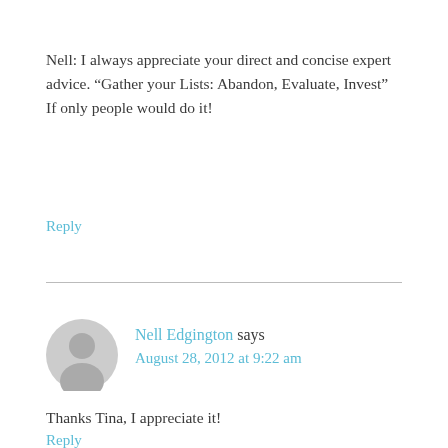Nell: I always appreciate your direct and concise expert advice. “Gather your Lists: Abandon, Evaluate, Invest” If only people would do it!
Reply
Nell Edgington says August 28, 2012 at 9:22 am
Thanks Tina, I appreciate it!
Reply